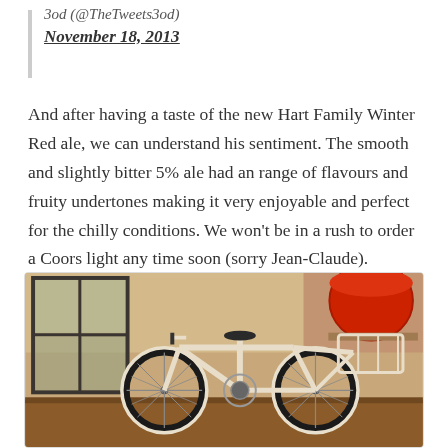3od (@TheTweets3od)
November 18, 2013
And after having a taste of the new Hart Family Winter Red ale, we can understand his sentiment. The smooth and slightly bitter 5% ale had an range of flavours and fruity undertones making it very enjoyable and perfect for the chilly conditions. We won't be in a rush to order a Coors light any time soon (sorry Jean-Claude).
[Figure (photo): A cream/white cargo bicycle with front rack mounted on a wooden surface inside a brick-walled room with large windows. A red barrel/keg is visible in the background on a shelf.]